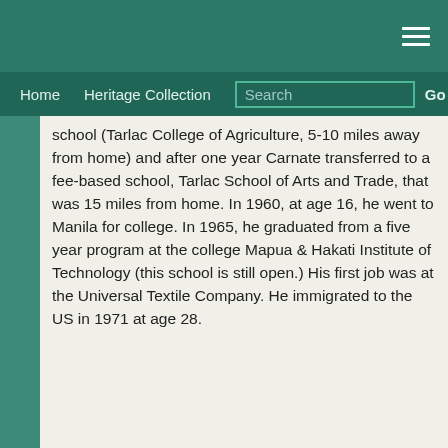Home  Heritage Collection  Search  Go
school (Tarlac College of Agriculture, 5-10 miles away from home) and after one year Carnate transferred to a fee-based school, Tarlac School of Arts and Trade, that was 15 miles from home. In 1960, at age 16, he went to Manila for college. In 1965, he graduated from a five year program at the college Mapua & Hakati Institute of Technology (this school is still open.) His first job was at the Universal Textile Company. He immigrated to the US in 1971 at age 28.